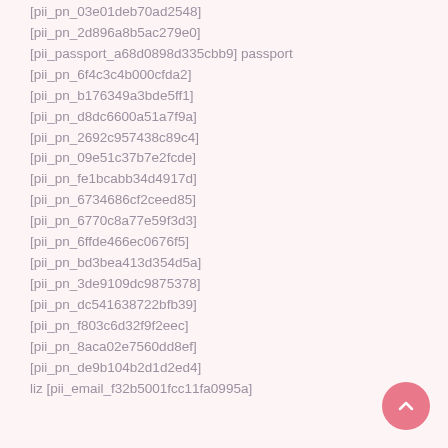[pii_pn_03e01deb70ad2548]
[pii_pn_2d896a8b5ac279e0]
[pii_passport_a68d0898d335cbb9] passport
[pii_pn_6f4c3c4b000cfda2]
[pii_pn_b176349a3bde5ff1]
[pii_pn_d8dc6600a51a7f9a]
[pii_pn_2692c957438c89c4]
[pii_pn_09e51c37b7e2fcde]
[pii_pn_fe1bcabb34d4917d]
[pii_pn_6734686cf2ceed85]
[pii_pn_6770c8a77e59f3d3]
[pii_pn_6ffde466ec0676f5]
[pii_pn_bd3bea413d354d5a]
[pii_pn_3de9109dc9875378]
[pii_pn_dc541638722bfb39]
[pii_pn_f803c6d32f9f2eec]
[pii_pn_8aca02e7560dd8ef]
[pii_pn_de9b104b2d1d2ed4]
liz [pii_email_f32b5001fcc11fa0995a]